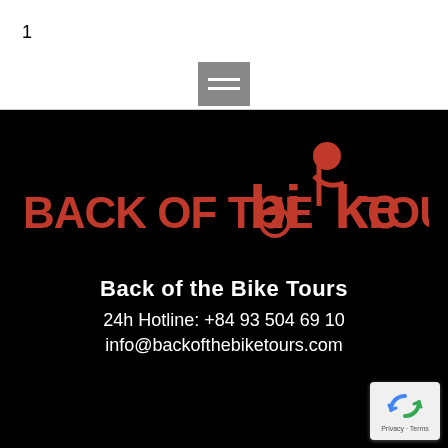1
[Figure (logo): Hamburger menu icon button with three horizontal white lines on a grey background]
[Figure (logo): Back of the Bike Tours logo in orange on black background, featuring a stylized cyclist figure with the text BACK OF THE BIKE TOURS]
Back of the Bike Tours
24h Hotline: +84 93 504 69 10
info@backofthebiketours.com